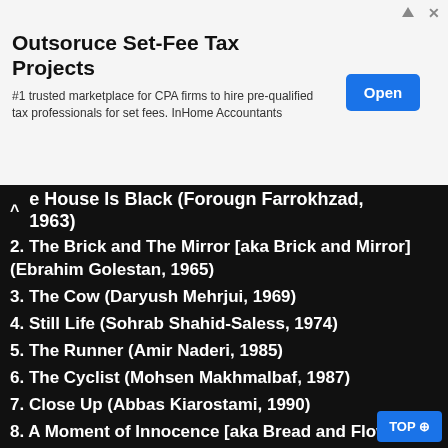[Figure (other): Advertisement banner for 'Outsoruce Set-Fee Tax Projects' with an Open button]
e House Is Black (Forough Farrokhzad, 1963)
2. The Brick and The Mirror [aka Brick and Mirror] (Ebrahim Golestan, 1965)
3. The Cow (Daryush Mehrjui, 1969)
4. Still Life (Sohrab Shahid-Saless, 1974)
5. The Runner (Amir Naderi, 1985)
6. The Cyclist (Mohsen Makhmalbaf, 1987)
7. Close Up (Abbas Kiarostami, 1990)
8. A Moment of Innocence [aka Bread and Flower Pot] (Mohsen Makhmalbaf, 1996)
9. Taste of Cherry (Abbas Kiarostami, 1997)
10. The Apple (Samira Makhmalbaf, 1998)
11. The Color of Paradise (Majid Majid…
12. The Day I Became a Woman (Marzieh…